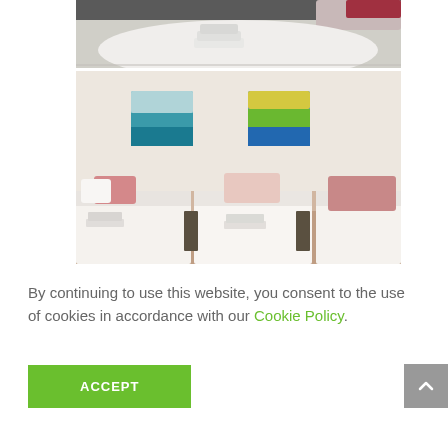[Figure (photo): Top portion of a hotel/guest room showing a bed with white linens and folded towels on top, dark headboard visible]
[Figure (photo): Guest bedroom with three single beds, white bedding, pink cushions, two colorful wall art pieces (teal abstract seascape and yellow-blue gradient), and small bedside tables]
By continuing to use this website, you consent to the use of cookies in accordance with our Cookie Policy.
ACCEPT